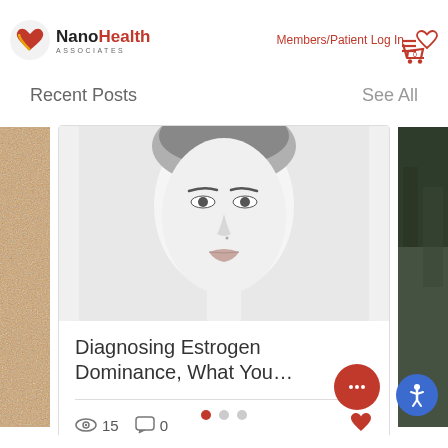NanoHealth ASSOCIATES | Members/Patient Log In
Recent Posts
See All
[Figure (photo): Close-up black and white portrait of a woman's face]
Diagnosing Estrogen Dominance, What You…
15 views · 0 comments · heart/like icon
Pagination dots (1 of 3 selected)